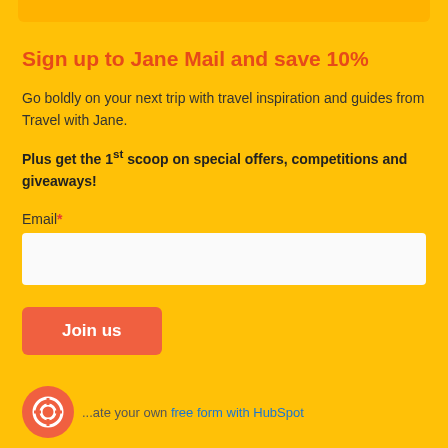Sign up to Jane Mail and save 10%
Go boldly on your next trip with travel inspiration and guides from Travel with Jane.
Plus get the 1st scoop on special offers, competitions and giveaways!
Email*
Join us
Create your own free form with HubSpot